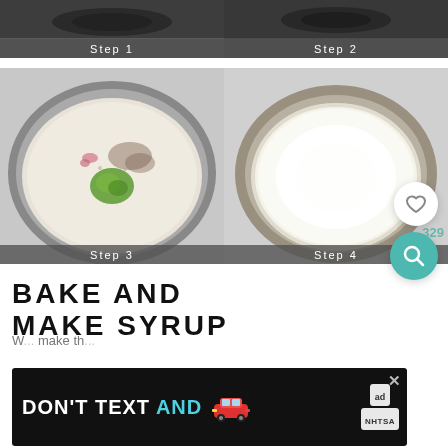[Figure (photo): Step 1 cooking photo - top left, dark background with food preparation]
[Figure (photo): Step 2 cooking photo - top right, dark background with food preparation]
[Figure (photo): Step 3 cooking photo - bottom left, overhead view of round metal bowl with spiced mixture including green herbs]
[Figure (photo): Step 4 cooking photo - bottom right, overhead view of round metal bowl filled with white fine powder/sugar]
BAKE AND MAKE SYRUP
[Figure (screenshot): Advertisement banner: DON'T TEXT AND [car emoji] ad NHTSA]
W... make th...